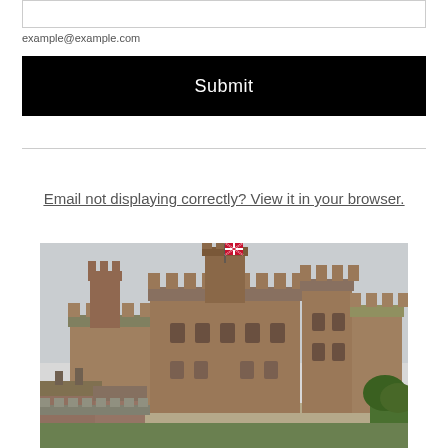example@example.com
Submit
Email not displaying correctly? View it in your browser.
[Figure (photo): Photograph of a large stone castle with multiple towers and battlements, flying a Union Jack flag, under an overcast sky with trees visible at lower right.]